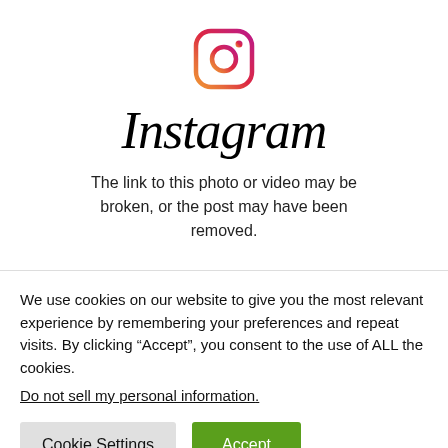[Figure (logo): Instagram app icon logo with gradient rounded square outline and circle/dot]
Instagram
The link to this photo or video may be broken, or the post may have been removed.
We use cookies on our website to give you the most relevant experience by remembering your preferences and repeat visits. By clicking “Accept”, you consent to the use of ALL the cookies.
Do not sell my personal information.
Cookie Settings    Accept